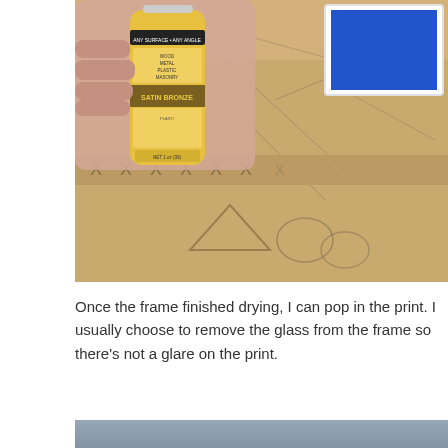[Figure (photo): A hand holding a can of Rust-Oleum Satin Bronze spray paint over a cardboard surface with pencil markings (X's, triangles, circles). A white picture frame with blue content is visible in the upper right.]
Once the frame finished drying, I can pop in the print. I usually choose to remove the glass from the frame so there's not a glare on the print.
[Figure (photo): A gray/blue-gray textured wall or surface, partially visible at the bottom of the page.]